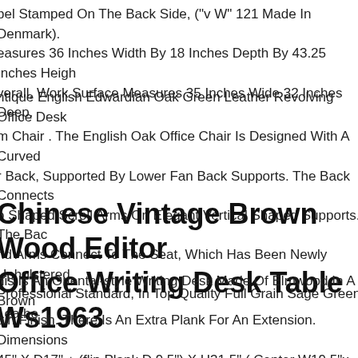bel Stamped On The Back Side, ("v W" 121 Made In Denmark). easures 36 Inches Width By 18 Inches Depth By 43.25 Inches Height verall, Work Surface Measures 35 Inches Wide 32 Inches Deep.
ntique English Edwardian Oak Green Leather Revolving Office Desk m Chair . The English Oak Office Chair Is Designed With A Curved r Back, Supported By Lower Fan Back Supports. The Back Connects o Shaped Scroll Arms On Elegant Vertical Shaped Supports. The Back nd Arms Connect To The Seat, Which Has Been Newly Upholstered, Professional Standard, In Top Quality Full Grain Sage Green Leather
Chinese Vintage Brown Wood Editor Office Writing Desk Table Ws1963
his Is An Oriental-style Writing Desk Made Of Elmwood In A Brown ain Finish. There Is An Extra Plank For An Extension. Dimensions 45" X D17" + (flip Plank D 9.5") X H31.5" ( Center W19.5"x H25" ) Orig ina Material Elm Wood Condition Vintage, Minor Wood Expansion ists. Wear Out Repair-marks Work Ship In One Piece Us Domestic